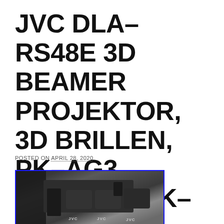JVC DLA-RS48E 3D BEAMER PROJEKTOR, 3D BRILLEN, PK-AG3, EMITTER, PK-EM2, HEIMKINO
POSTED ON APRIL 28, 2020
[Figure (photo): Photo of JVC 3D projector accessories including a remote control, three JVC 3D glasses laid flat, and a small emitter device, on a dark surface with cardboard background]